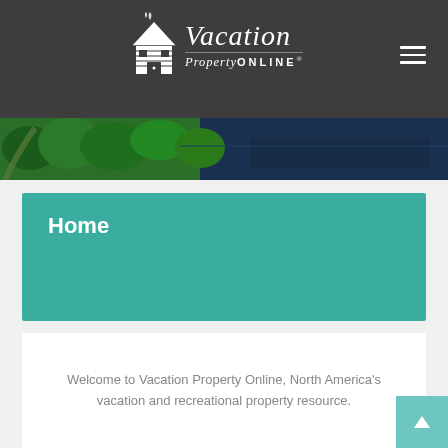Vacation PropertyONLINE
[Figure (photo): Aerial view of green trees and dark blue water/lake]
Home
Welcome to Vacation Property Online, North America's vacation and recreational property resource.